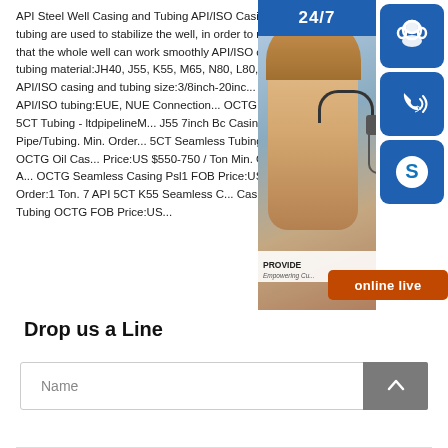API Steel Well Casing and Tubing API/ISO Casing and tubing are used to stabilize the well, in order to make sure that the whole well can work smoothly API/ISO casing and tubing material:JH40, J55, K55, M65, N80, L80, P1... API/ISO casing and tubing size:3/8inch-20inc... type of API/ISO tubing:EUE, NUE Connection... OCTG Tubing, API 5CT Tubing - ltdpipelineM... J55 7inch Bc Casing Pipe/Tubing. Min. Order... 5CT Seamless Tubing Pipe & OCTG Oil Cas... Price:US $550-750 / Ton Min. Order:1 Ton. A... OCTG Seamless Casing Psl1 FOB Price:US ... Min. Order:1 Ton. 7 API 5CT K55 Seamless C... Casing Pipe and Tubing OCTG FOB Price:US...
[Figure (infographic): Customer service widget with 24/7 banner, headset icon, phone icon, Skype icon, agent photo, PROVIDE Empowering Customers text, and orange 'online live' button]
Drop us a Line
[Figure (screenshot): Name input field with a grey scroll-to-top arrow button on the right]